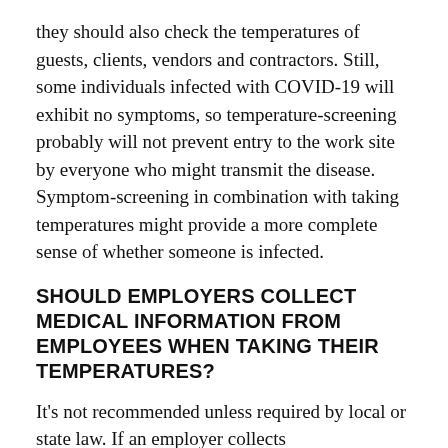they should also check the temperatures of guests, clients, vendors and contractors. Still, some individuals infected with COVID-19 will exhibit no symptoms, so temperature-screening probably will not prevent entry to the work site by everyone who might transmit the disease. Symptom-screening in combination with taking temperatures might provide a more complete sense of whether someone is infected.
SHOULD EMPLOYERS COLLECT MEDICAL INFORMATION FROM EMPLOYEES WHEN TAKING THEIR TEMPERATURES?
It's not recommended unless required by local or state law. If an employer collects